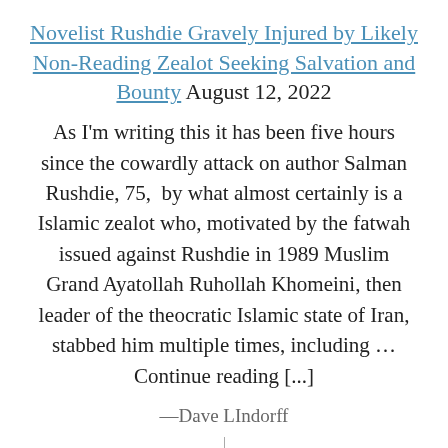Novelist Rushdie Gravely Injured by Likely Non-Reading Zealot Seeking Salvation and Bounty August 12, 2022
As I'm writing this it has been five hours since the cowardly attack on author Salman Rushdie, 75,  by what almost certainly is a Islamic zealot who, motivated by the fatwah issued against Rushdie in 1989 Muslim Grand Ayatollah Ruhollah Khomeini, then leader of the theocratic Islamic state of Iran, stabbed him multiple times, including … Continue reading [...]
—Dave LIndorff